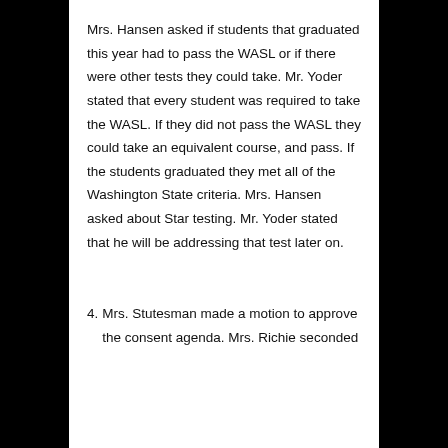Mrs. Hansen asked if students that graduated this year had to pass the WASL or if there were other tests they could take. Mr. Yoder stated that every student was required to take the WASL. If they did not pass the WASL they could take an equivalent course, and pass. If the students graduated they met all of the Washington State criteria. Mrs. Hansen asked about Star testing. Mr. Yoder stated that he will be addressing that test later on.
4. Mrs. Stutesman made a motion to approve the consent agenda. Mrs. Richie seconded